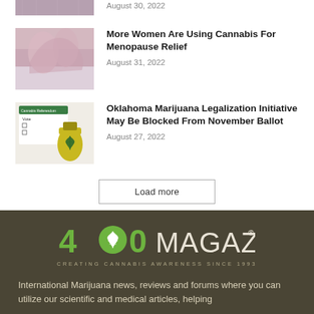[Figure (photo): Partial view of a person, cropped at top]
August 30, 2022
[Figure (photo): Woman lying down with arms raised over her face]
More Women Are Using Cannabis For Menopause Relief
August 31, 2022
[Figure (photo): Cannabis referendum ballot with a yellow cannabis oil bottle]
Oklahoma Marijuana Legalization Initiative May Be Blocked From November Ballot
August 27, 2022
Load more
[Figure (logo): 420 Magazine logo - Creating Cannabis Awareness Since 1993]
International Marijuana news, reviews and forums where you can utilize our scientific and medical articles, helping